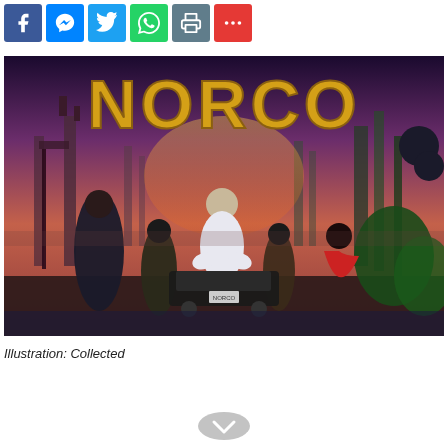[Figure (other): Social media share bar with Facebook, Messenger, Twitter, WhatsApp, Print, and More buttons]
[Figure (illustration): NORCO game cover art illustration showing dystopian Louisiana bayou scene with multiple characters around a vehicle, industrial background, gold 'NORCO' title text at top]
Illustration: Collected
[Figure (other): Scroll down chevron button at bottom center]